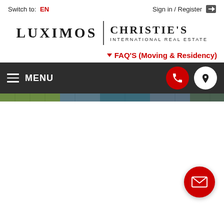Switch to: EN
Sign in / Register
[Figure (logo): Luximos Christie's International Real Estate logo with vertical divider]
▼ FAQ'S (Moving & Residency)
[Figure (screenshot): Navigation bar with hamburger menu icon, MENU text, phone icon (red circle), and location pin icon (white circle)]
[Figure (photo): Hero image strip showing landscape/outdoor scene]
[Figure (infographic): Floating red email/envelope button in bottom-right corner]